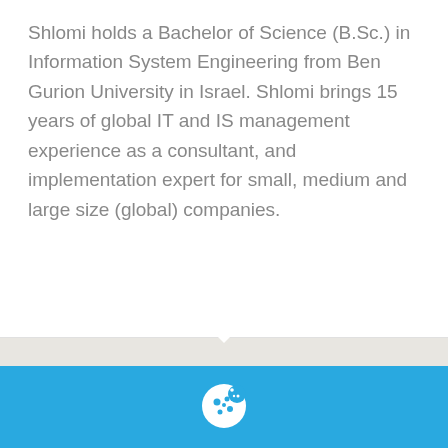Shlomi holds a Bachelor of Science (B.Sc.) in Information System Engineering from Ben Gurion University in Israel. Shlomi brings 15 years of global IT and IS management experience as a consultant, and implementation expert for small, medium and large size (global) companies.
[Figure (illustration): Cookie icon — white cookie with white dots on blue background, cookie consent banner]
We use cookies to ensure that we give you the best experience on our website. By continuing to use our site, you accept our cookie policy. More information
ACCEPT